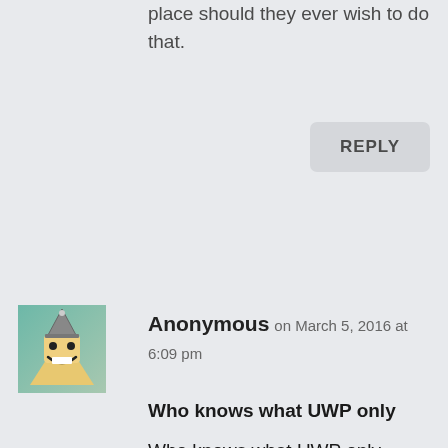place should they ever wish to do that.
REPLY
[Figure (illustration): Avatar image of a cartoon character with a big smile, triangular hat, on a green/teal gradient background]
Anonymous on March 5, 2016 at 6:09 pm
Who knows what UWP only
Who knows what UWP only features that M$ is and will bake into DX12 to give UWP applications the edge over the win 32/64 desktop applications. DX12 is totally under M$ control, and DX12 is wedded to windows 10, and windows 10's EULA is the